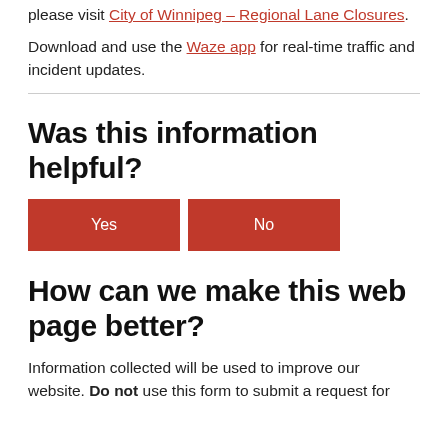please visit City of Winnipeg – Regional Lane Closures.
Download and use the Waze app for real-time traffic and incident updates.
Was this information helpful?
Yes  No
How can we make this web page better?
Information collected will be used to improve our website. Do not use this form to submit a request for service information, as you will not be